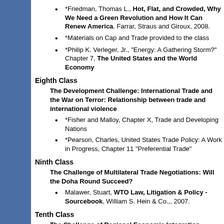*Friedman, Thomas L., Hot, Flat, and Crowded, Why We Need a Green Revolution and How It Can Renew America. Farrar, Straus and Giroux, 2008.
*Materials on Cap and Trade provided to the class
*Philip K. Verleger, Jr., "Energy: A Gathering Storm?" Chapter 7, The United States and the World Economy
Eighth Class
The Development Challenge: International Trade and the War on Terror: Relationship between trade and international violence
*Fisher and Malloy, Chapter X, Trade and Developing Nations
*Pearson, Charles, United States Trade Policy: A Work in Progress, Chapter 11 "Preferential Trade"
Ninth Class
The Challenge of Multilateral Trade Negotiations: Will the Doha Round Succeed?
Malawer, Stuart, WTO Law, Litigation & Policy - Sourcebook, William S. Hein & Co.,, 2007.
Tenth Class
The Challenge of Regional Economic Integration
NAFTA
CAFTA
Bilateral free trade agreements